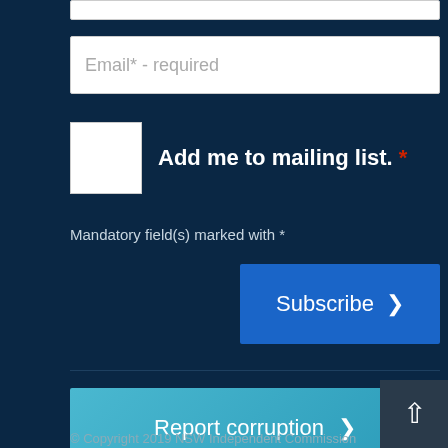Email* - required
Add me to mailing list. *
Mandatory field(s) marked with *
Subscribe
Report corruption
© Copyright 2019 NSW Independent Commission